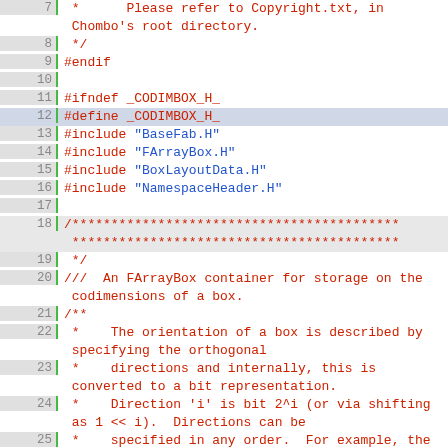Source code viewer showing lines 7-30 of a C++ header file (CoDimBox). Lines contain copyright comment, header guards, includes (BaseFab.H, FArrayBox.H, BoxLayoutData.H, NamespaceHeader.H), and Doxygen comments describing FArrayBox container for codimensions of a box, including orientation, bit representation, and direction indexing.